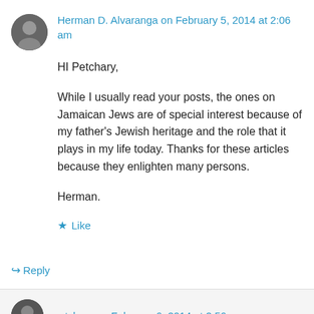[Figure (photo): Circular avatar photo of Herman D. Alvaranga, a man in dark clothing]
Herman D. Alvaranga on February 5, 2014 at 2:06 am
HI Petchary,

While I usually read your posts, the ones on Jamaican Jews are of special interest because of my father’s Jewish heritage and the role that it plays in my life today. Thanks for these articles because they enlighten many persons.

Herman.
★ Like
↳ Reply
[Figure (photo): Circular avatar photo of petchary]
petchary on February 6, 2014 at 2:56 pm